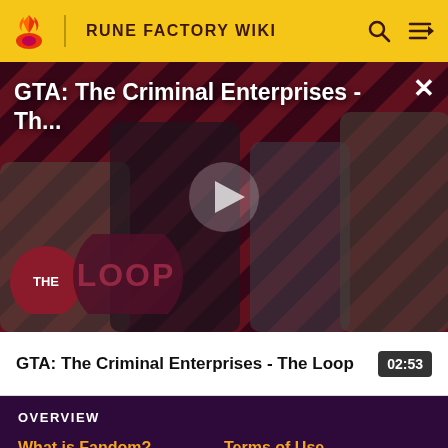RUNE FACTORY WIKI
[Figure (screenshot): GTA: The Criminal Enterprises - The Loop video thumbnail with diagonal red and purple stripes background, four game characters, and THE LOOP logo]
GTA: The Criminal Enterprises - Th...
GTA: The Criminal Enterprises - The Loop
02:53
OVERVIEW
What is Fandom?    Terms of Use